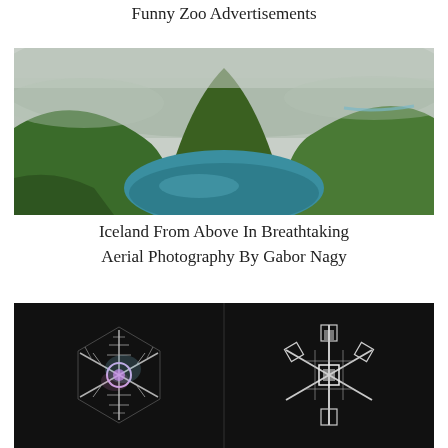Funny Zoo Advertisements
[Figure (photo): Aerial photograph of an Icelandic volcanic crater lake surrounded by green hills and mountains with low clouds]
Iceland From Above In Breathtaking Aerial Photography By Gabor Nagy
[Figure (photo): Two macro photographs of snowflakes on a dark background showing intricate crystal structures]